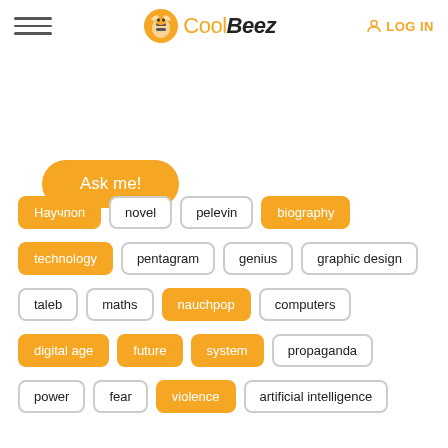[Figure (logo): CoolBeez logo with bee icon]
LOG IN
Ask me!
Научпоп
novel
pelevin
biography
technology
pentagram
genius
graphic design
taleb
maths
nauchpop
computers
digital age
future
system
propaganda
power
fear
violence
artificial intelligence